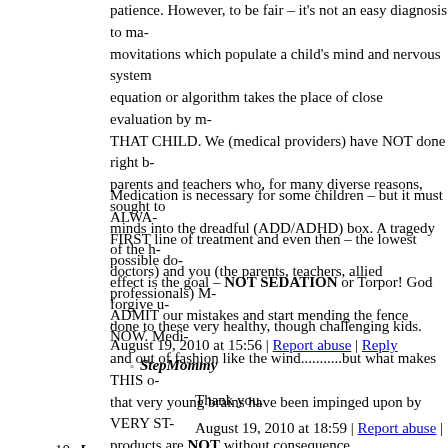patience. However, to be fair – it's not an easy diagnosis to ma- movitations which populate a child's mind and nervous system equation or algorithm takes the place of close evaluation by m- THAT CHILD. We (medical providers) have NOT done right b- parents and teachers who, for many diverse reasons, sought to minds into the dreadful (ADD/ADHD) box. A tragedy of the h- doctors) and you (the parents, teachers, allied professionals) M- ADMIT our mistakes and start mending the fence NOW. Medi- and out of fashion like the wind...........but what makes THIS o- that very young brains have been impinged upon by VERY ST- products are NOT without consequence.
Medication is necessary for some children – but it must ALWA- FIRST line of treatment and even then – the lowest possible do- effect is the goal – NOT SEDATION or Torpor! God forgive u- done to these very healthy, though challenging kids.
.
August 19, 2010 at 15:56 | Report abuse | Reply
StepMommy
Thank you.
August 19, 2010 at 18:59 | Report abuse |
10. Jen
How many posts have we seen that go something like this: my